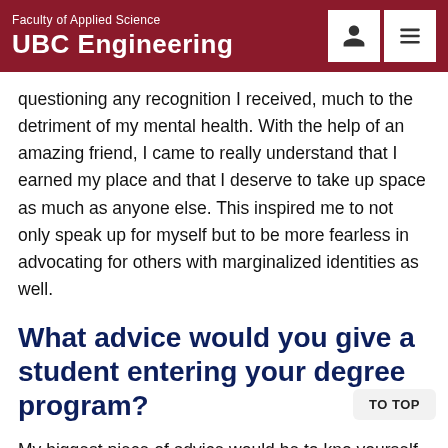Faculty of Applied Science
UBC Engineering
questioning any recognition I received, much to the detriment of my mental health. With the help of an amazing friend, I came to really understand that I earned my place and that I deserve to take up space as much as anyone else. This inspired me to not only speak up for myself but to be more fearless in advocating for others with marginalized identities as well.
What advice would you give a student entering your degree program?
My biggest piece of advice would be to kno yourself and understand the individual skills you